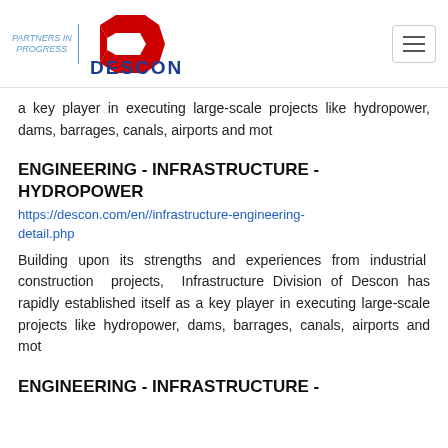PARTNERS IN PROGRESS | DESCON
a key player in executing large-scale projects like hydropower, dams, barrages, canals, airports and mot
ENGINEERING - INFRASTRUCTURE - HYDROPOWER
https://descon.com/en//infrastructure-engineering-detail.php
Building upon its strengths and experiences from industrial construction projects, Infrastructure Division of Descon has rapidly established itself as a key player in executing large-scale projects like hydropower, dams, barrages, canals, airports and mot
ENGINEERING - INFRASTRUCTURE -